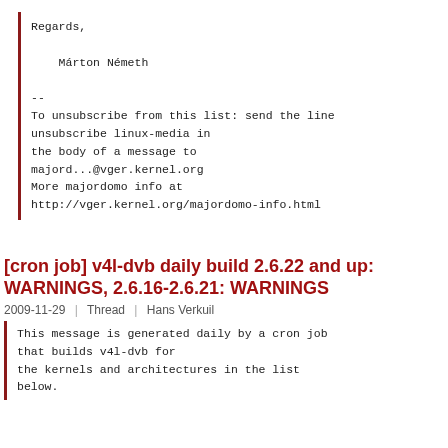Regards,

    Márton Németh

--
To unsubscribe from this list: send the line
unsubscribe linux-media in
the body of a message to
majord...@vger.kernel.org
More majordomo info at
http://vger.kernel.org/majordomo-info.html
[cron job] v4l-dvb daily build 2.6.22 and up: WARNINGS, 2.6.16-2.6.21: WARNINGS
2009-11-29  |  Thread  |  Hans Verkuil
This message is generated daily by a cron job that builds v4l-dvb for the kernels and architectures in the list below.